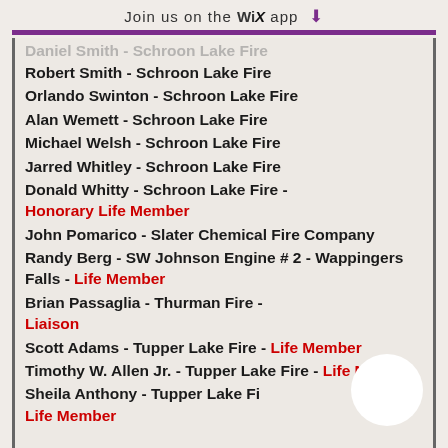Join us on the WiX app ⬇
Daniel Smith - Schroon Lake Fire (partial, cut off at top)
Robert Smith - Schroon Lake Fire
Orlando Swinton - Schroon Lake Fire
Alan Wemett - Schroon Lake Fire
Michael Welsh - Schroon Lake Fire
Jarred Whitley - Schroon Lake Fire
Donald Whitty - Schroon Lake Fire - Honorary Life Member
John Pomarico - Slater Chemical Fire Company
Randy Berg - SW Johnson Engine # 2 - Wappingers Falls - Life Member
Brian Passaglia - Thurman Fire - Liaison
Scott Adams - Tupper Lake Fire - Life Member
Timothy W. Allen Jr. - Tupper Lake Fire - Life Member
Sheila Anthony - Tupper Lake Fire - Life Member